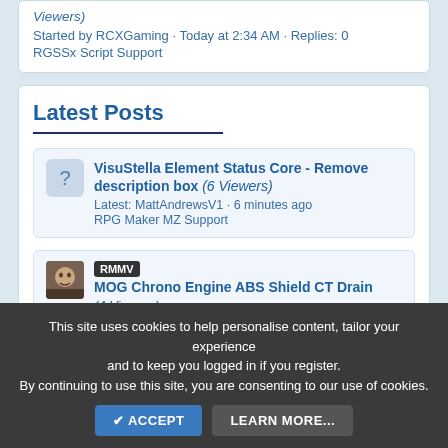Viewers)
Started by RCXGaming · Today at 2:34 AM · Replies: 0
RGSSx Script Support
Latest Posts
VisuStella Element Status Core - Remove description box (6 Viewers) Latest: MattAndrewsV1 · 6 minutes ago RPG Maker MZ Support
RMMV MOG Chrono Engine ABS Shield CT Drain (4 Viewers) Latest: Somnus · 11 minutes ago Javascript/Plugin Support
This site uses cookies to help personalise content, tailor your experience and to keep you logged in if you register. By continuing to use this site, you are consenting to our use of cookies.
✔ ACCEPT   LEARN MORE...